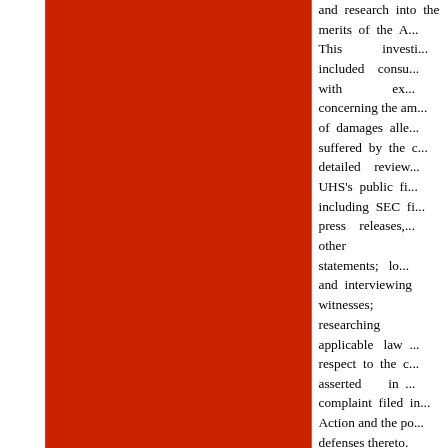[Figure (other): Large red rectangle occupying the left portion of the page]
and research into the merits of the A... This investigation included consultation with experts concerning the amount of damages alleged suffered by the c... detailed review of UHS's public filings including SEC filings, press releases, and other statements; locating and interviewing witnesses; researching applicable law with respect to the claims asserted in the complaint filed in the Action and the potential defenses thereto.